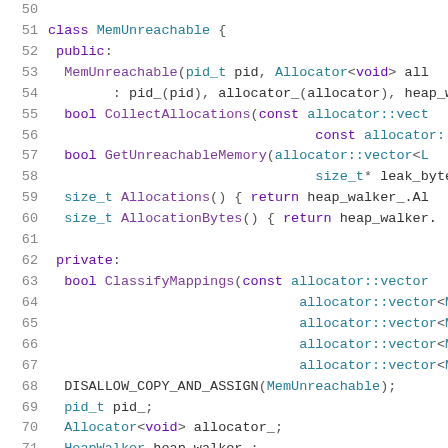[Figure (screenshot): C++ source code snippet showing class MemUnreachable definition with public and private sections, lines 51-71]